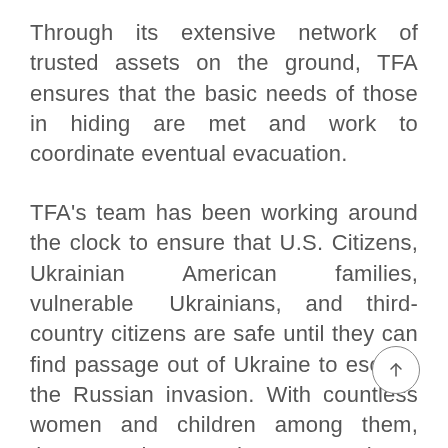Through its extensive network of trusted assets on the ground, TFA ensures that the basic needs of those in hiding are met and work to coordinate eventual evacuation.
TFA's team has been working around the clock to ensure that U.S. Citizens, Ukrainian American families, vulnerable Ukrainians, and third-country citizens are safe until they can find passage out of Ukraine to escape the Russian invasion. With countless women and children among them, these people are under constant threat of violence and death.